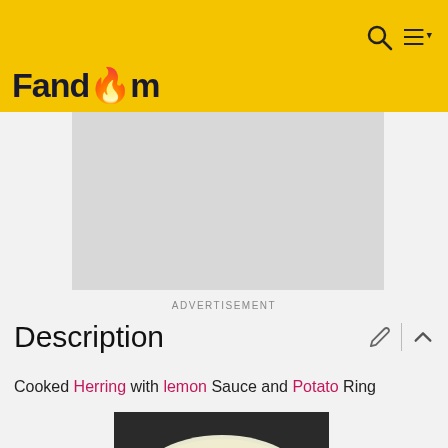Fandom
[Figure (other): Advertisement placeholder — grey rectangle]
ADVERTISEMENT
Description
Cooked Herring with lemon Sauce and Potato Ring
[Figure (photo): A white oval plate with cooked herring pieces served with lemon sauce and potato slices, viewed from above on a dark background]